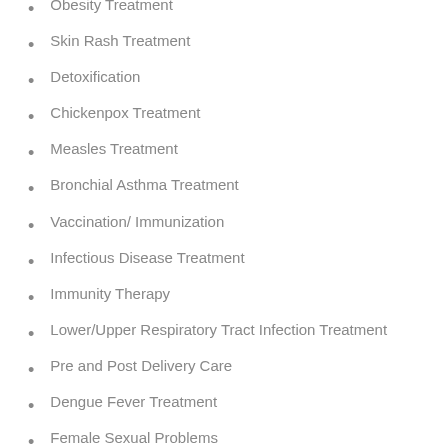Obesity Treatment
Skin Rash Treatment
Detoxification
Chickenpox Treatment
Measles Treatment
Bronchial Asthma Treatment
Vaccination/ Immunization
Infectious Disease Treatment
Immunity Therapy
Lower/Upper Respiratory Tract Infection Treatment
Pre and Post Delivery Care
Dengue Fever Treatment
Female Sexual Problems
Type 1 Diabetes Treatment
Gestational Diabetes Management
Joint and Muscle Problems
Giddiness